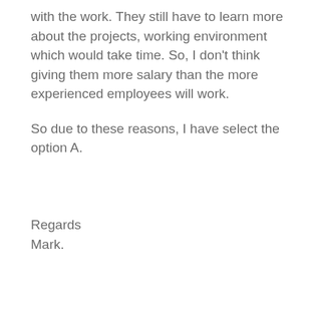with the work. They still have to learn more about the projects, working environment which would take time. So, I don't think giving them more salary than the more experienced employees will work.
So due to these reasons, I have select the option A.
Regards
Mark.